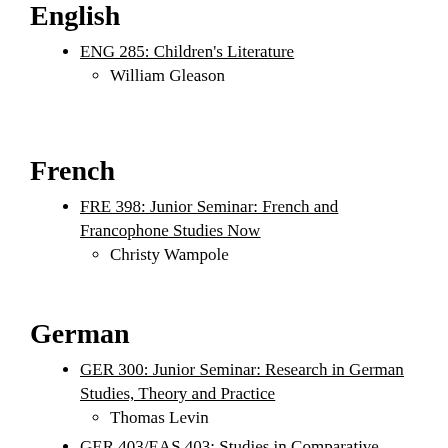English
ENG 285: Children's Literature
William Gleason
French
FRE 398: Junior Seminar: French and Francophone Studies Now
Christy Wampole
German
GER 300: Junior Seminar: Research in German Studies, Theory and Practice
Thomas Levin
GER 403/EAS 403: Studies in Comparative